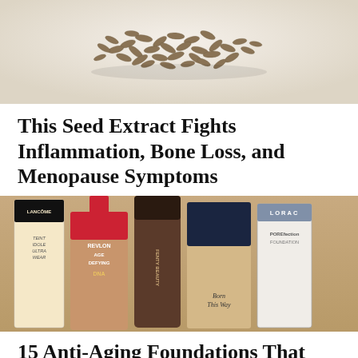[Figure (photo): Close-up photo of a pile of seeds (cumin or fennel seeds) scattered on a white background]
This Seed Extract Fights Inflammation, Bone Loss, and Menopause Symptoms
[Figure (photo): Photo showing five foundation makeup bottles from various brands including Lancome Teint Idole Ultra Wear, Revlon Age Defying DNA, Fenty Beauty, Too Faced Born This Way, and LORAC POREfection Foundation]
15 Anti-Aging Foundations That Will